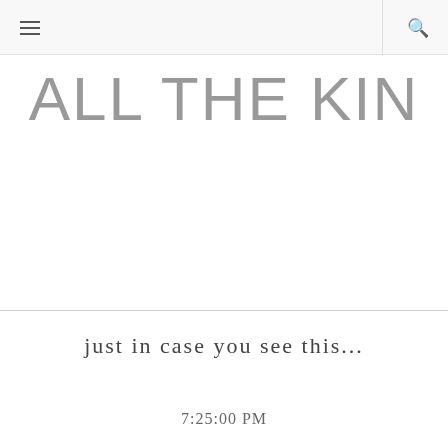ALL THE KIN
just in case you see this...
7:25:00 PM